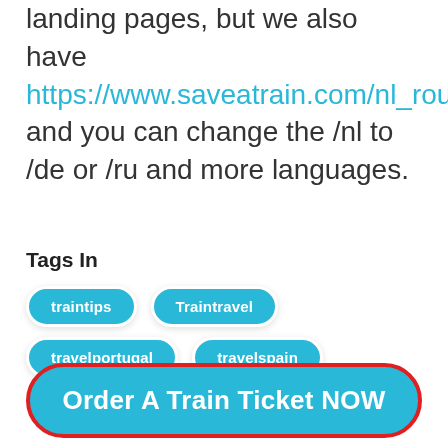landing pages, but we also have https://www.saveatrain.com/nl_routes_sitemap.xml and you can change the /nl to /de or /ru and more languages.
Tags In
traintips
Traintravel
travelportugal
travelspain
Order A Train Ticket NOW